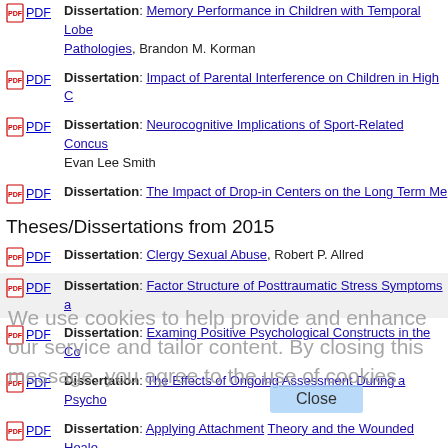PDF Dissertation: Memory Performance in Children with Temporal Lobe Pathologies, Brandon M. Korman
PDF Dissertation: Impact of Parental Interference on Children in High C…
PDF Dissertation: Neurocognitive Implications of Sport-Related Concus… Evan Lee Smith
PDF Dissertation: The Impact of Drop-in Centers on the Long Term Me…
Theses/Dissertations from 2015
PDF Dissertation: Clergy Sexual Abuse, Robert P. Allred
PDF Dissertation: Factor Structure of Posttraumatic Stress Symptoms a…
PDF Dissertation: Examing Positive Psychological Constructs in the Co…
PDF Dissertation: The Effects of Ongoing Assessment During a Psycho…
PDF Dissertation: Applying Attachment Theory and the Wounded Healer… Mental Health Counseling Graduate Students, Alison Levine
PDF Dissertation: Cardiovascular Reactivity in Posttraumatic Stress Dis…
We use cookies to help provide and enhance our service and tailor content. By closing this message, you agree to the use of cookies.